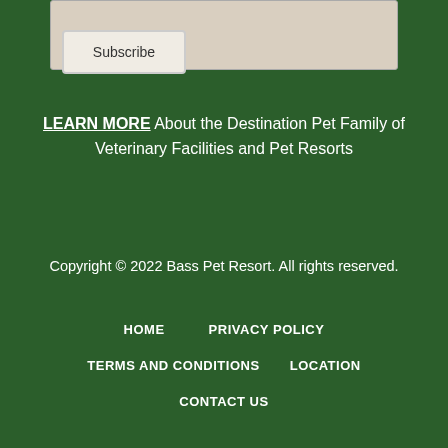Subscribe
LEARN MORE About the Destination Pet Family of Veterinary Facilities and Pet Resorts
Copyright © 2022 Bass Pet Resort. All rights reserved.
HOME
PRIVACY POLICY
TERMS AND CONDITIONS
LOCATION
CONTACT US